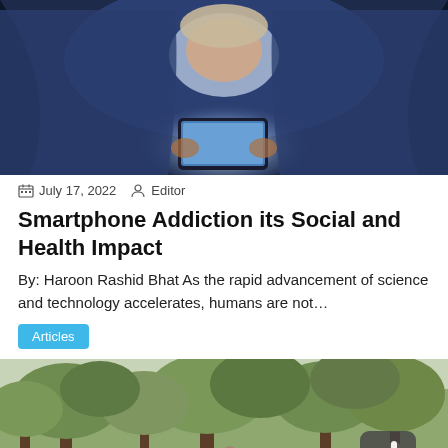[Figure (photo): Person lying in bed under covers, face illuminated by smartphone screen in the dark]
July 17, 2022   Editor
Smartphone Addiction its Social and Health Impact
By: Haroon Rashid Bhat As the rapid advancement of science and technology accelerates, humans are not…
Articles
[Figure (photo): Outdoor scene with large leafy trees and people harvesting or working underneath, with a thumbs-up icon overlay]